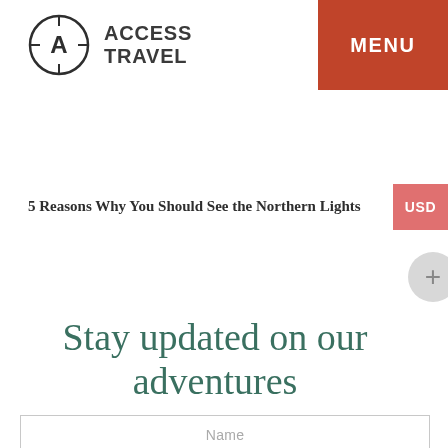[Figure (logo): Access Travel logo: circular compass-style icon with letter A in center, next to bold text ACCESS TRAVEL]
MENU
5 Reasons Why You Should See the Northern Lights
Stay updated on our adventures
Name